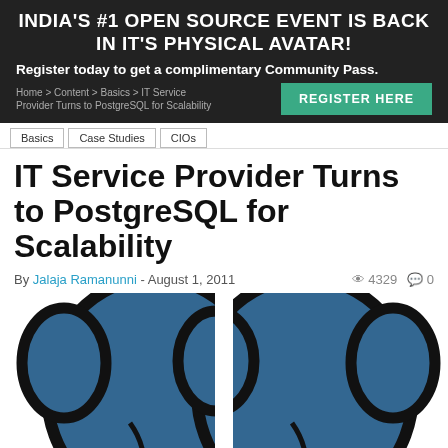INDIA'S #1 OPEN SOURCE EVENT IS BACK IN IT'S PHYSICAL AVATAR!
Register today to get a complimentary Community Pass.
Home > Content > Basics > IT Service Provider Turns to PostgreSQL for Scalability
REGISTER HERE
Basics   Case Studies   CIOs
IT Service Provider Turns to PostgreSQL for Scalability
By Jalaja Ramanunni - August 1, 2011   4329   0
[Figure (logo): PostgreSQL elephant logo — two blue elephant heads side by side with thick black outlines on white background]